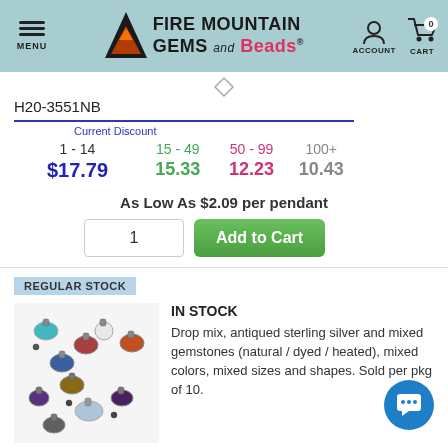MENU | FIRE MOUNTAIN GEMS and Beads | ACCOUNT | CART 0
H20-3551NB
| Current Discount | 15 - 49 | 50 - 99 | 100+ |
| --- | --- | --- | --- |
| 1 - 14 | 15 - 49 | 50 - 99 | 100+ |
| $17.79 | 15.33 | 12.23 | 10.43 |
As Low As $2.09 per pendant
REGULAR STOCK
[Figure (photo): Multiple antiqued sterling silver drop pendants with mixed gemstones in various colors]
IN STOCK
Drop mix, antiqued sterling silver and mixed gemstones (natural / dyed / heated), mixed colors, mixed sizes and shapes. Sold per pkg of 10.
H20-6132JW
Current Discount